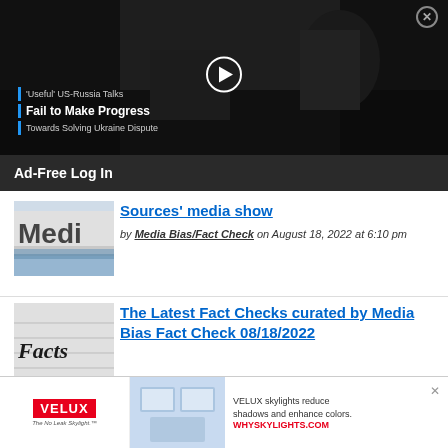[Figure (screenshot): Dark video thumbnail showing soldiers/military scene with a play button overlay. Text overlay reads: 'Useful' US-Russia Talks / Fail to Make Progress / Towards Solving Ukraine Dispute]
Ad-Free Log In
[Figure (photo): Photo of a building sign reading 'Media']
Sources' media show
by Media Bias/Fact Check on August 18, 2022 at 6:10 pm
[Figure (photo): Photo with handwritten word 'FACTS' on a lined surface]
The Latest Fact Checks curated by Media Bias Fact Check 08/18/2022
[Figure (photo): VELUX advertisement banner showing skylights. Text: VELUX skylights reduce shadows and enhance colors. WHYSKYLIGHTS.COM]